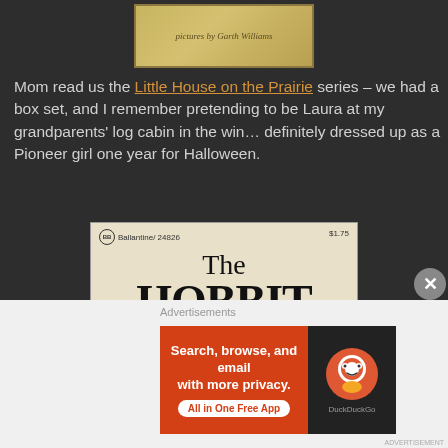[Figure (photo): Partial view of a book cover (Little House on the Prairie) showing text 'pictures by Garth Williams' on a yellowish-gold background]
Mom read us the Little House on the Prairie series – we had a box set, and I remember pretending to be Laura at my grandparents' log cabin in the win... definitely dressed up as a Pioneer girl one year for Halloween.
[Figure (photo): Cover of The Hobbit by J.R.R. Tolkien, Ballantine edition 24826, $1.75. Shows title 'The HOBBIT - The Enchanting Prelude to "The Lord of the Rings"' by J.R.R. Tolkien, with leaf/foliage imagery at the bottom.]
Advertisements
[Figure (photo): DuckDuckGo advertisement banner: 'Search, browse, and email with more privacy. All in One Free App' on orange background with DuckDuckGo logo on dark background]